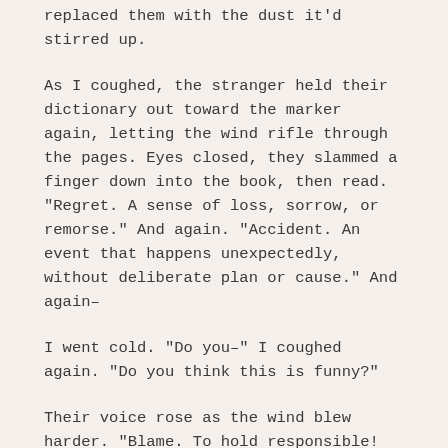replaced them with the dust it'd stirred up.
As I coughed, the stranger held their dictionary out toward the marker again, letting the wind rifle through the pages. Eyes closed, they slammed a finger down into the book, then read. "Regret. A sense of loss, sorrow, or remorse." And again. "Accident. An event that happens unexpectedly, without deliberate plan or cause." And again–
I went cold. "Do you–" I coughed again. "Do you think this is funny?"
Their voice rose as the wind blew harder. "Blame. To hold responsible! Death! The total and permanent cessation of all vital functions!"